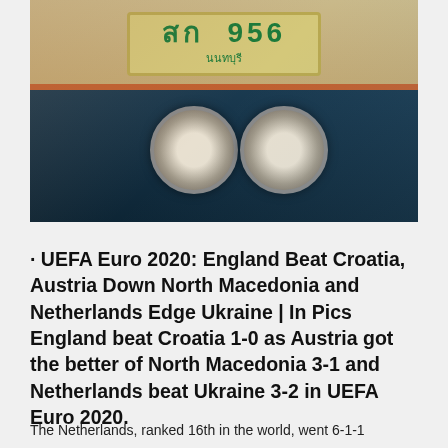[Figure (photo): Close-up photo of a tuk-tuk vehicle showing a Thai license plate reading 'สก 956 นนทบุรี' and two large round headlights on a dark blue body]
· UEFA Euro 2020: England Beat Croatia, Austria Down North Macedonia and Netherlands Edge Ukraine | In Pics England beat Croatia 1-0 as Austria got the better of North Macedonia 3-1 and Netherlands beat Ukraine 3-2 in UEFA Euro 2020.
The Netherlands, ranked 16th in the world, went 6-1-1